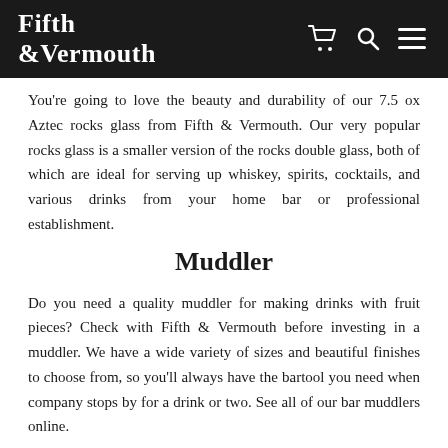Fifth & Vermouth
You're going to love the beauty and durability of our 7.5 oz Aztec rocks glass from Fifth & Vermouth. Our very popular rocks glass is a smaller version of the rocks double glass, both of which are ideal for serving up whiskey, spirits, cocktails, and various drinks from your home bar or professional establishment.
Muddler
Do you need a quality muddler for making drinks with fruit pieces? Check with Fifth & Vermouth before investing in a muddler. We have a wide variety of sizes and beautiful finishes to choose from, so you'll always have the bartool you need when company stops by for a drink or two. See all of our bar muddlers online.
Jigger
Give your bar guests the perfect pour every time with a beautiful jigger from Fifth & Vermouth. We sell top-